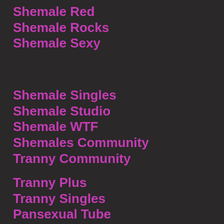Shemale Red
Shemale Rocks
Shemale Sexy
Shemale Singles
Shemale Studio
Shemale WTF
Shemales Community
Tranny Community
Tranny Plus
Tranny Singles
Pansexual Tube
Bisexual Chat
Strapon Sex